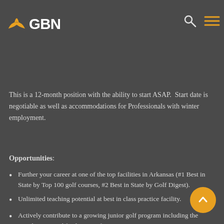[Figure (logo): GBN logo with orange bird/arrow shape on the left and white GBN text on dark background]
Assistant Golf Professional will develop a wide range of skills in a higher level envionment while receiving support for professional development and career advancement.
This is a 12-month position with the ability to start ASAP.  Start date is negotiable as well as accommodations for Professionals with winter employment.
Opportunities:
Further your career at one of the top facilities in Arkansas (#1 Best in State by Top 100 golf courses, #2 Best in State by Golf Digest).
Unlimited teaching potential at best in class practice facility.
Actively contribute to a growing junior golf program including the coordination and facilitation of camps,